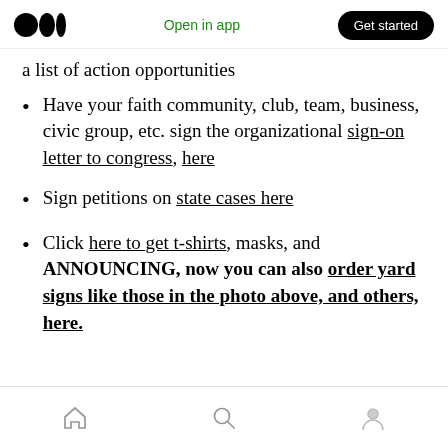Open in app | Get started
a list of action opportunities
Have your faith community, club, team, business, civic group, etc. sign the organizational sign-on letter to congress, here
Sign petitions on state cases here
Click here to get t-shirts, masks, and ANNOUNCING, now you can also order yard signs like those in the photo above, and others, here.
Home | Search | Profile